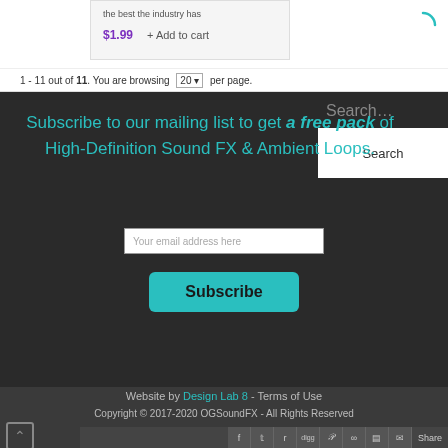$1.99  + Add to cart
1 - 11 out of 11. You are browsing 20 per page.
Search...
Subscribe to our mailing list to get a free pack of High-Definition Sound FX & Ambient Loops.
Search
Your email address here
Subscribe
Website by Design Lab 8 - Terms of Use
Copyright © 2017-2020 OGSoundFX - All Rights Reserved
Share